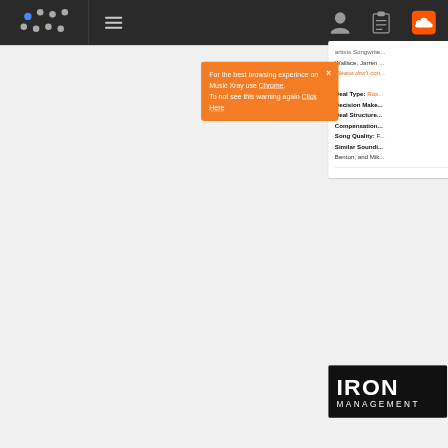[Figure (screenshot): Music Xray website screenshot showing navigation bar with dots logo, hamburger menu, user icon, clipboard icon, and SoundCloud orange icon. An orange browser warning popup overlays the page saying to use Chrome for best experience. Right panel shows partially visible text about artists, songwriters, deal type, decision maker, deal structure, compensation, song quality, similar sounding artists. Bottom shows partial Iron Management logo card.]
For the best browsing experince on Music Xray use Chrome. To not see this warning again Click Here
artists Songwrite... Wallace, Jarren ...
Please don't con...
Deal Type: Ros...
Decision Make...
Deal Structure...
Compensation...
Song Quality: F...
Similar Soundi...
Benton, and Mik...
[Figure (logo): IRON MANAGEMENT logo — white text on black background]